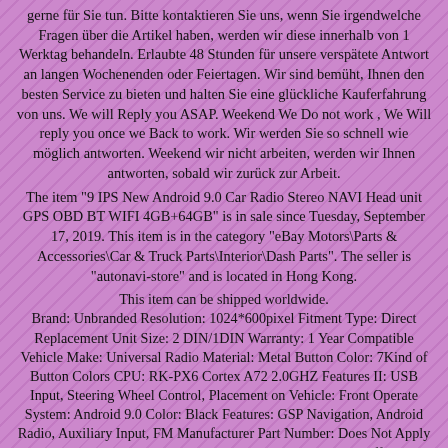gerne für Sie tun. Bitte kontaktieren Sie uns, wenn Sie irgendwelche Fragen über die Artikel haben, werden wir diese innerhalb von 1 Werktag behandeln. Erlaubte 48 Stunden für unsere verspätete Antwort an langen Wochenenden oder Feiertagen. Wir sind bemüht, Ihnen den besten Service zu bieten und halten Sie eine glückliche Kauferfahrung von uns. We will Reply you ASAP. Weekend We Do not work , We Will reply you once we Back to work. Wir werden Sie so schnell wie möglich antworten. Weekend wir nicht arbeiten, werden wir Ihnen antworten, sobald wir zurück zur Arbeit.
The item "9 IPS New Android 9.0 Car Radio Stereo NAVI Head unit GPS OBD BT WIFI 4GB+64GB" is in sale since Tuesday, September 17, 2019. This item is in the category "eBay Motors\Parts & Accessories\Car & Truck Parts\Interior\Dash Parts". The seller is "autonavi-store" and is located in Hong Kong.
This item can be shipped worldwide. Brand: Unbranded Resolution: 1024*600pixel Fitment Type: Direct Replacement Unit Size: 2 DIN/1DIN Warranty: 1 Year Compatible Vehicle Make: Universal Radio Material: Metal Button Color: 7Kind of Button Colors CPU: RK-PX6 Cortex A72 2.0GHZ Features II: USB Input, Steering Wheel Control, Placement on Vehicle: Front Operate System: Android 9.0 Color: Black Features: GSP Navigation, Android Radio, Auxiliary Input, FM Manufacturer Part Number: Does Not Apply Features III: Bluetooth4.0 Ready, Touchscreen, Real-Time Traffic RAM Memory: 4GB DDR3 NAND FLASH: